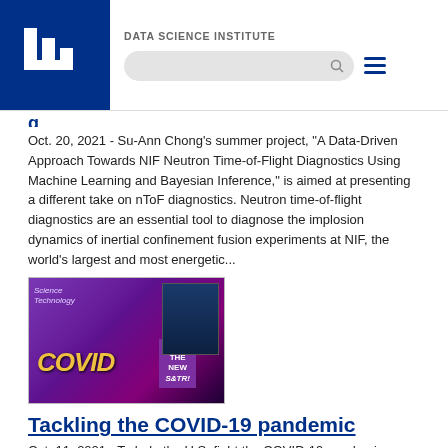DATA SCIENCE INSTITUTE
[Figure (logo): LLNL logo - white L shapes on dark blue background]
Oct. 20, 2021 - Su-Ann Chong's summer project, “A Data-Driven Approach Towards NIF Neutron Time-of-Flight Diagnostics Using Machine Learning and Bayesian Inference,” is aimed at presenting a different take on nToF diagnostics. Neutron time-of-flight diagnostics are an essential tool to diagnose the implosion dynamics of inertial confinement fusion experiments at NIF, the world’s largest and most energetic...
[Figure (photo): Magazine covers showing COVID-19 Science and Technology Review issue with text 'INSIDE THE NEW S&TR!']
Tackling the COVID-19 pandemic
Oct. 11, 2021 - To help the U.S. fight the COVID-19 pandemic,